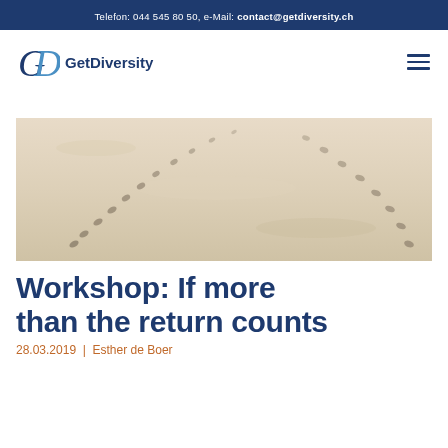Telefon: 044 545 80 50, e-Mail: contact@getdiversity.ch
[Figure (logo): GetDiversity logo with stylized GP monogram and text 'GetDiversity']
[Figure (photo): Footprints in sand or snow making diagonal crossing trails]
Workshop: If more than the return counts
28.03.2019  |  Esther de Boer